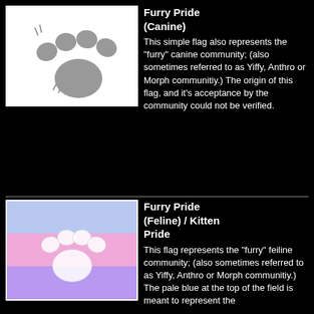[Figure (illustration): A white rectangle with a grey canine paw print (four toe pads and one large pad)]
Furry Pride (Canine)
This simple flag also represents the "furry" canine community; (also sometimes referred to as Yiffy, Anthro or Morph communitiy.) The origin of this flag, and it's acceptance by the community could not be verified.
[Figure (illustration): A flag with three horizontal stripes: pale blue on top, pink in the middle, purple on the bottom, with a white cat paw print in the center]
Furry Pride (Feline) / Kitten Pride
This flag represents the "furry" feiline community; (also sometimes referred to as Yiffy, Anthro or Morph communitiy.) The pale blue at the top of the field is meant to represent the